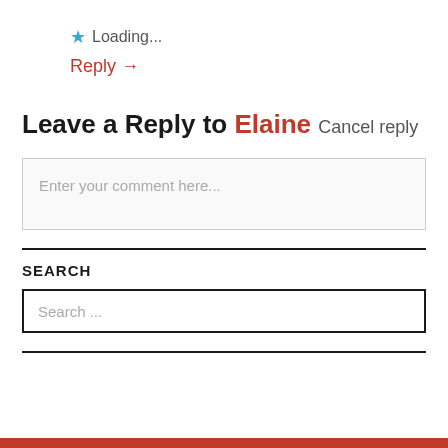★ Loading...
Reply →
Leave a Reply to Elaine Cancel reply
Enter your comment here...
SEARCH
Search ...